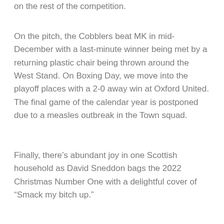on the rest of the competition.
On the pitch, the Cobblers beat MK in mid-December with a last-minute winner being met by a returning plastic chair being thrown around the West Stand. On Boxing Day, we move into the playoff places with a 2-0 away win at Oxford United. The final game of the calendar year is postponed due to a measles outbreak in the Town squad.
Finally, there’s abundant joy in one Scottish household as David Sneddon bags the 2022 Christmas Number One with a delightful cover of “Smack my bitch up.”